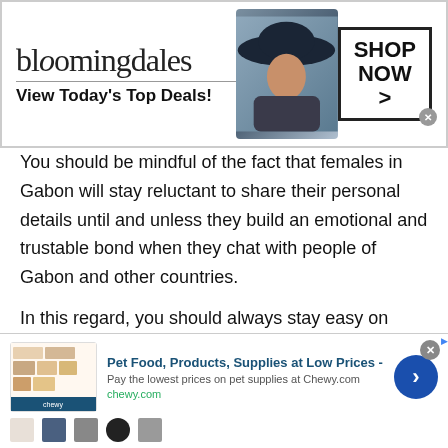[Figure (screenshot): Bloomingdale's advertisement banner with logo, model in large hat, and SHOP NOW button]
You should be mindful of the fact that females in Gabon will stay reluctant to share their personal details until and unless they build an emotional and trustable bond when they chat with people of Gabon and other countries.
In this regard, you should always stay easy on asking for the personal details. If you chat with the people of Gabon, then be very careful with personal details. At least for a week or two, do not bother asking for
[Figure (screenshot): Chewy.com advertisement banner: Pet Food, Products, Supplies at Low Prices - Pay the lowest prices on pet supplies at Chewy.com]